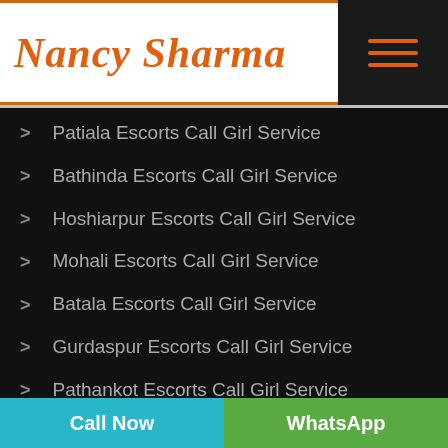[Figure (logo): Nancy Sharma cursive logo in orange with orange top and bottom borders]
Patiala Escorts Call Girl Service
Bathinda Escorts Call Girl Service
Hoshiarpur Escorts Call Girl Service
Mohali Escorts Call Girl Service
Batala Escorts Call Girl Service
Gurdaspur Escorts Call Girl Service
Pathankot Escorts Call Girl Service
Moga Escorts Call Girl Service
Call Now | WhatsApp